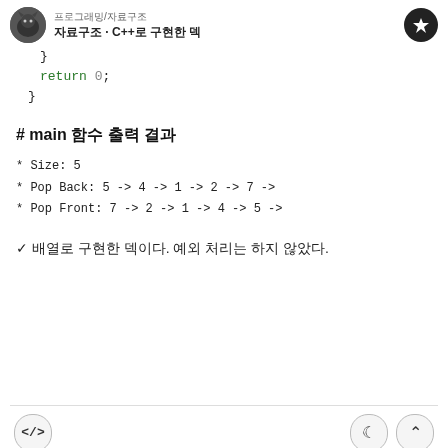프로그래밍/자료구조 자료구조 · C++로 구현한 덱
}
    return 0;
}
# main 함수 출력 결과
* Size: 5
* Pop Back: 5 -> 4 -> 1 -> 2 -> 7 ->
* Pop Front: 7 -> 2 -> 1 -> 4 -> 5 ->
✓ 배열로 구현한 덱이다. 예외 처리는 하지 않았다.
Deque 클래스 석명